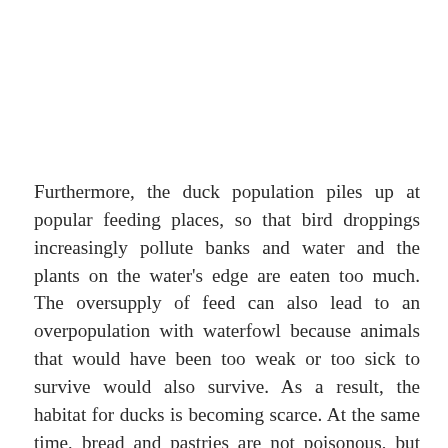Furthermore, the duck population piles up at popular feeding places, so that bird droppings increasingly pollute banks and water and the plants on the water's edge are eaten too much. The oversupply of feed can also lead to an overpopulation with waterfowl because animals that would have been too weak or too sick to survive would also survive. As a result, the habitat for ducks is becoming scarce. At the same time, bread and pastries are not poisonous, but they are bad duck feed because they swell in the stomach and are not good for the birds. Bread also contains too much salt. In principle, baked goods for